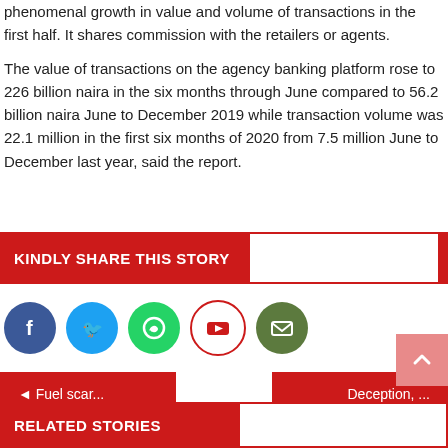phenomenal growth in value and volume of transactions in the first half. It shares commission with the retailers or agents.
The value of transactions on the agency banking platform rose to 226 billion naira in the six months through June compared to 56.2 billion naira June to December 2019 while transaction volume was 22.1 million in the first six months of 2020 from 7.5 million June to December last year, said the report.
KINDLY SHARE THIS STORY
[Figure (infographic): Social media share icons: Facebook (blue circle), Twitter (light blue circle), WhatsApp (green circle), YouTube (white circle with red border), Email (dark green circle)]
◄ Fuel scar...
Deception, ...
RELATED STORIES